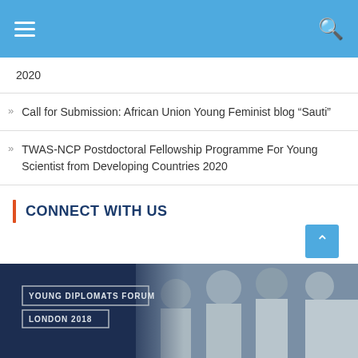Navigation bar with menu and search
2020
Call for Submission: African Union Young Feminist blog “Sauti”
TWAS-NCP Postdoctoral Fellowship Programme For Young Scientist from Developing Countries 2020
CONNECT WITH US
[Figure (photo): Group photo of young people at Young Diplomats Forum London 2018 event]